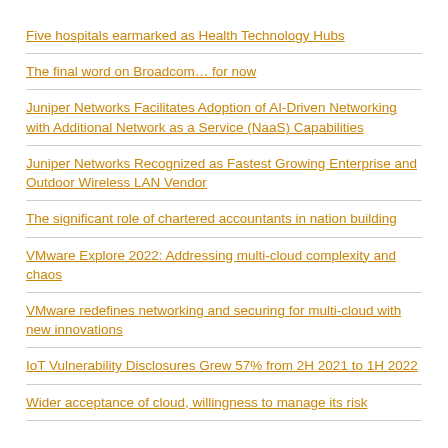Five hospitals earmarked as Health Technology Hubs
The final word on Broadcom… for now
Juniper Networks Facilitates Adoption of AI-Driven Networking with Additional Network as a Service (NaaS) Capabilities
Juniper Networks Recognized as Fastest Growing Enterprise and Outdoor Wireless LAN Vendor
The significant role of chartered accountants in nation building
VMware Explore 2022: Addressing multi-cloud complexity and chaos
VMware redefines networking and securing for multi-cloud with new innovations
IoT Vulnerability Disclosures Grew 57% from 2H 2021 to 1H 2022
Wider acceptance of cloud, willingness to manage its risk